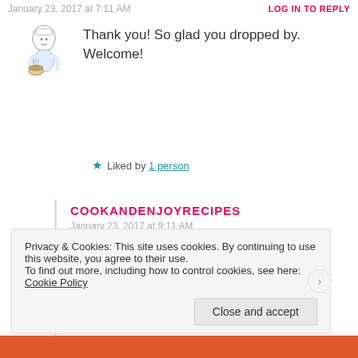January 23, 2017 at 7:11 AM
LOG IN TO REPLY
Thank you! So glad you dropped by. Welcome!
Liked by 1 person
COOKANDENJOYRECIPES
January 23, 2017 at 9:11 AM
[Figure (illustration): Two heart emoji symbols in red/pink]
Liked by 1 person
Privacy & Cookies: This site uses cookies. By continuing to use this website, you agree to their use. To find out more, including how to control cookies, see here: Cookie Policy
Close and accept